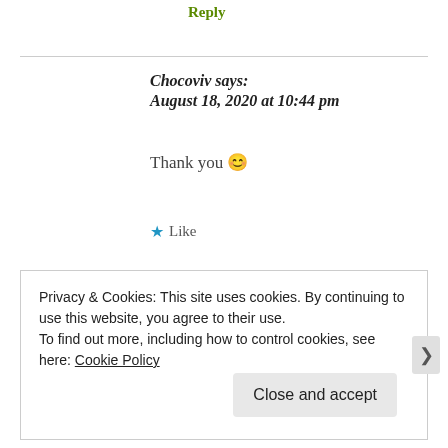Reply
Chocoviv says: August 18, 2020 at 10:44 pm
Thank you 😊
★ Like
Privacy & Cookies: This site uses cookies. By continuing to use this website, you agree to their use.
To find out more, including how to control cookies, see here: Cookie Policy
Close and accept